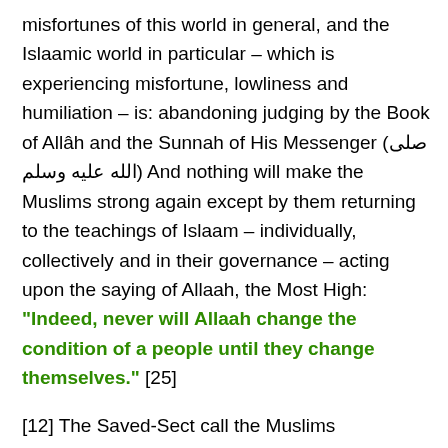misfortunes of this world in general, and the Islaamic world in particular – which is experiencing misfortune, lowliness and humiliation – is: abandoning judging by the Book of Allâh and the Sunnah of His Messenger (صلى الله عليه وسلم) And nothing will make the Muslims strong again except by them returning to the teachings of Islaam – individually, collectively and in their governance – acting upon the saying of Allaah, the Most High: "Indeed, never will Allaah change the condition of a people until they change themselves." [25]
[12] The Saved-Sect call the Muslims collectively to Jihâd in the path of Allaah – which is obligatory upon every Muslim in accordance with his ability and strength. And Jihaad comprises the following:-
[i] Jihaad with the Tongue and the Pen: to call the Muslims